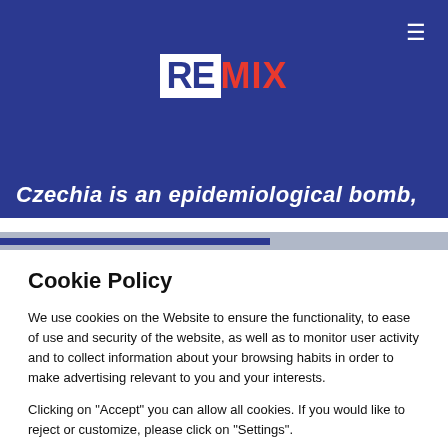[Figure (logo): REMIX logo: 'RE' in white box on navy background, 'MIX' in red text, all on dark blue header bar with hamburger menu icon top right]
Czechia is an epidemiological bomb,
Cookie Policy
We use cookies on the Website to ensure the functionality, to ease of use and security of the website, as well as to monitor user activity and to collect information about your browsing habits in order to make advertising relevant to you and your interests.
Clicking on "Accept" you can allow all cookies. If you would like to reject or customize, please click on "Settings".
Read more: Cookie Policy
SETTINGS
ACCEPT